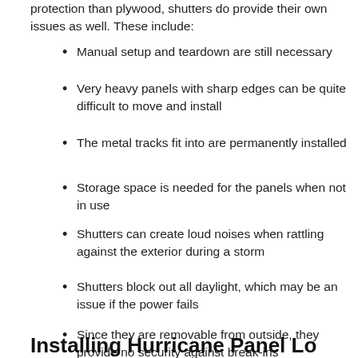protection than plywood, shutters do provide their own issues as well. These include:
Manual setup and teardown are still necessary
Very heavy panels with sharp edges can be quite difficult to move and install
The metal tracks fit into are permanently installed
Storage space is needed for the panels when not in use
Shutters can create loud noises when rattling against the exterior during a storm
Shutters block out all daylight, which may be an issue if the power fails
Since they are removable from outside, they provide no security against break-ins
Installing Hurricane Panel Loo...